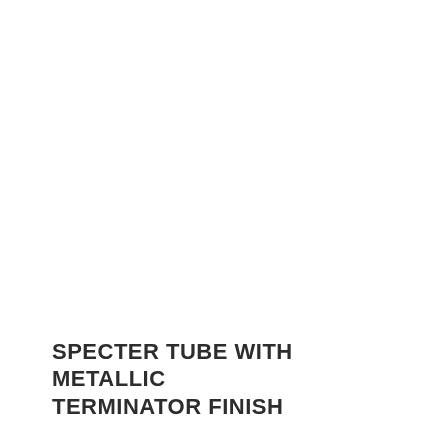SPECTER TUBE WITH METALLIC TERMINATOR FINISH